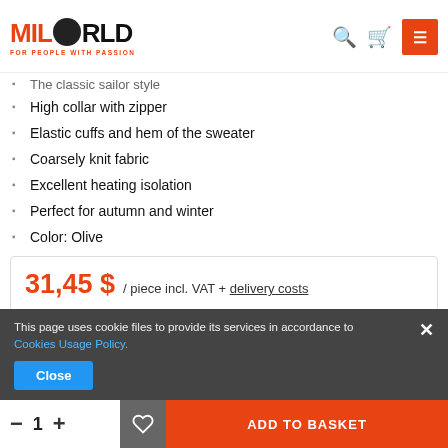MILWORLD - FOR PEOPLE WITH PASSION
The classic sailor style
High collar with zipper
Elastic cuffs and hem of the sweater
Coarsely knit fabric
Excellent heating isolation
Perfect for autumn and winter
Color: Olive
31,45 $ / piece incl. VAT + delivery costs
This page uses cookie files to provide its services in accordance to Cookies Usage Policy.
Close
ADD TO BASKET